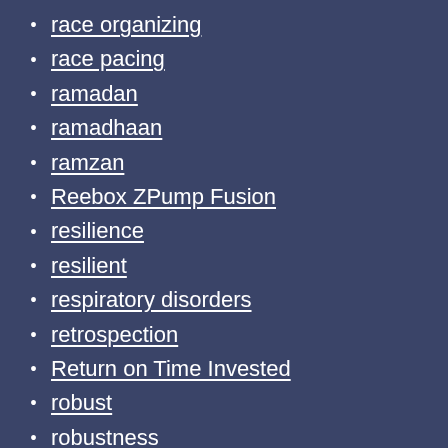race organizing
race pacing
ramadan
ramadhaan
ramzan
Reebox ZPump Fusion
resilience
resilient
respiratory disorders
retrospection
Return on Time Invested
robust
robustness
ROTI
running shoe review
running shoes
salad